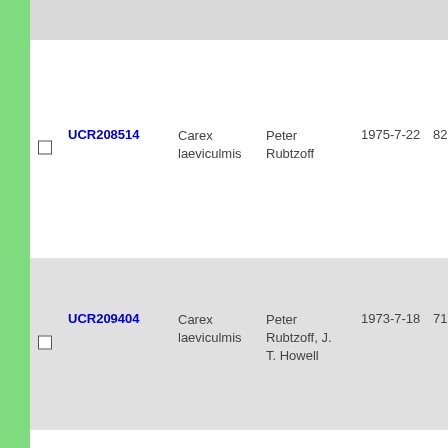|  | ID | Species | Collector | Date | Number |
| --- | --- | --- | --- | --- | --- |
| ☐ | UCR208514 | Carex laeviculmis | Peter Rubtzoff | 1975-7-22 | 8202 |
| ☐ | UCR209404 | Carex laeviculmis | Peter Rubtzoff, J. T. Howell | 1973-7-18 | 7110 |